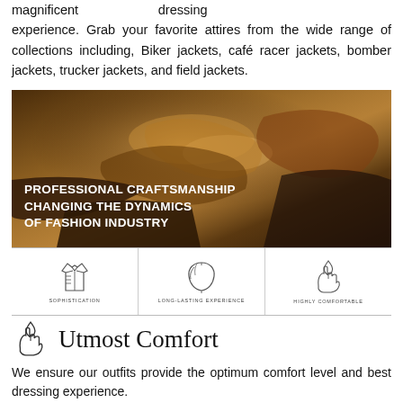magnificent dressing experience. Grab your favorite attires from the wide range of collections including, Biker jackets, café racer jackets, bomber jackets, trucker jackets, and field jackets.
[Figure (photo): A craftsman's hands working with leather on a workbench, with text overlay reading PROFESSIONAL CRAFTSMANSHIP CHANGING THE DYNAMICS OF FASHION INDUSTRY]
[Figure (infographic): Three icons in a row: a jacket (SOPHISTICATION), a leather hide (LONG-LASTING EXPERIENCE), and a hand holding a leaf (HIGHLY COMFORTABLE), separated by vertical lines]
[Figure (illustration): Small icon of a hand holding a leaf/flame symbol]
Utmost Comfort
We ensure our outfits provide the optimum comfort level and best dressing experience.